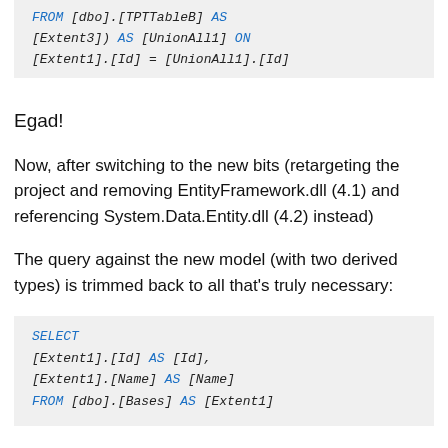[Figure (screenshot): Code block showing SQL snippet: FROM [dbo].[TPTTableB] AS [Extent3]) AS [UnionAll1] ON [Extent1].[Id] = [UnionAll1].[Id]]
Egad!
Now, after switching to the new bits (retargeting the project and removing EntityFramework.dll (4.1) and referencing System.Data.Entity.dll (4.2) instead)
The query against the new model (with two derived types) is trimmed back to all that's truly necessary:
[Figure (screenshot): Code block showing SQL: SELECT [Extent1].[Id] AS [Id], [Extent1].[Name] AS [Name] FROM [dbo].[Bases] AS [Extent1]]